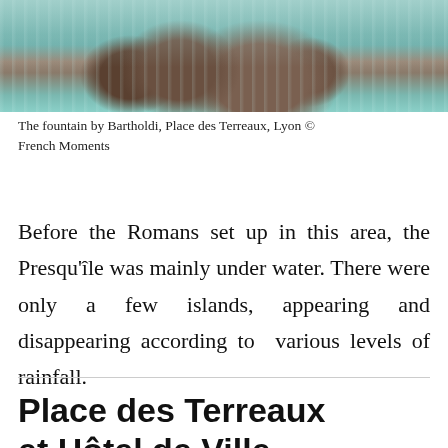[Figure (photo): Photograph of the Bartholdi fountain at Place des Terreaux, Lyon, showing rocky formation with cascading water and turquoise water basin]
The fountain by Bartholdi, Place des Terreaux, Lyon © French Moments
Before the Romans set up in this area, the Presqu'île was mainly under water. There were only a few islands, appearing and disappearing according to various levels of rainfall.
Place des Terreaux et Hôtel de Ville –